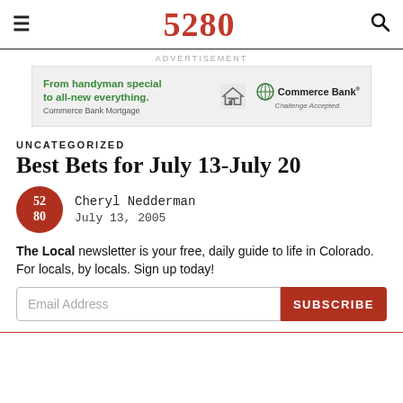5280
[Figure (screenshot): Commerce Bank Mortgage advertisement banner reading 'From handyman special to all-new everything. Commerce Bank Mortgage. Commerce Bank Challenge Accepted.']
UNCATEGORIZED
Best Bets for July 13-July 20
Cheryl Nedderman
July 13, 2005
The Local newsletter is your free, daily guide to life in Colorado. For locals, by locals. Sign up today!